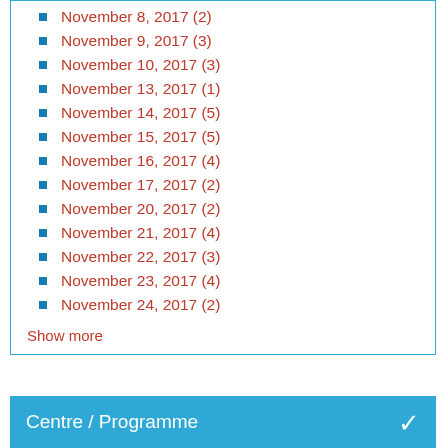November 8, 2017 (2)
November 9, 2017 (3)
November 10, 2017 (3)
November 13, 2017 (1)
November 14, 2017 (5)
November 15, 2017 (5)
November 16, 2017 (4)
November 17, 2017 (2)
November 20, 2017 (2)
November 21, 2017 (4)
November 22, 2017 (3)
November 23, 2017 (4)
November 24, 2017 (2)
Show more
Centre / Programme